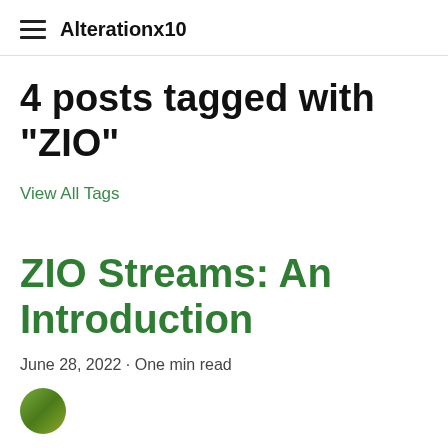Alterationx10
4 posts tagged with "ZIO"
View All Tags
ZIO Streams: An Introduction
June 28, 2022 · One min read